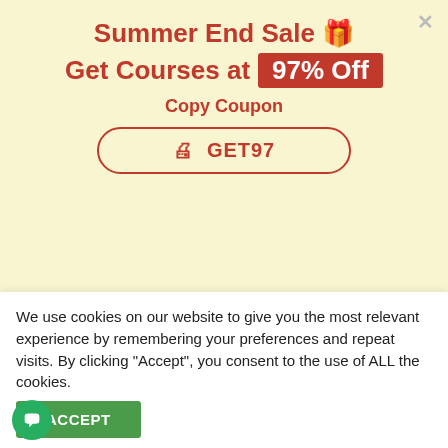Summer End Sale 🎁 Get Courses at 97% Off
Copy Coupon
🖨 GET97
↗ Explore all courses
[Figure (photo): Two smiling women in a bright indoor setting]
We use cookies on our website to give you the most relevant experience by remembering your preferences and repeat visits. By clicking "Accept", you consent to the use of ALL the cookies.
ACCEPT